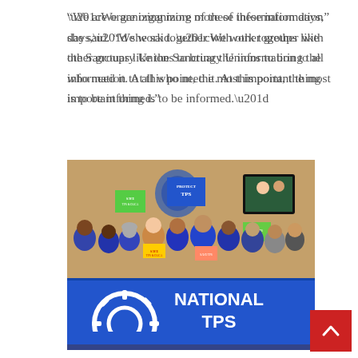“We are organizing more of these information days,” she said. “We work together with other groups like the Sanctuary Unions to bring the information to all who need it. At this point, the most important thing is to be informed.”
[Figure (photo): A group of people standing together holding a large blue banner reading 'National TPS Alliance' with a gear logo. People in the background hold signs including 'Protect TPS' and 'Save TPS & DACA'. Many participants wear blue t-shirts.]